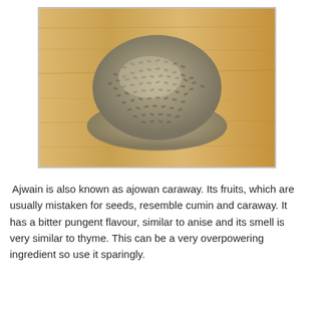[Figure (photo): A pile of ajwain (ajowan caraway) seeds on a light wooden surface. The seeds are small, pale greenish-grey, and form a rounded mound in the center of the image.]
Ajwain is also known as ajowan caraway. Its fruits, which are usually mistaken for seeds, resemble cumin and caraway. It has a bitter pungent flavour, similar to anise and its smell is very similar to thyme. This can be a very overpowering ingredient so use it sparingly.